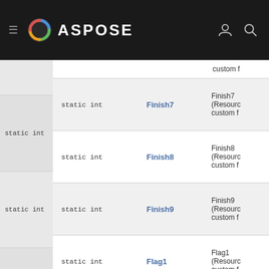ASPOSE
| Type | Field | Description |
| --- | --- | --- |
|  |  | custom f |
| static int | Finish7 | Finish7 (Resource custom f |
| static int | Finish8 | Finish8 (Resource custom f |
| static int | Finish9 | Finish9 (Resource custom f |
| static int | Flag1 | Flag1 (Resource custom f |
| static int | Flag10 | Flag10 (Resource |